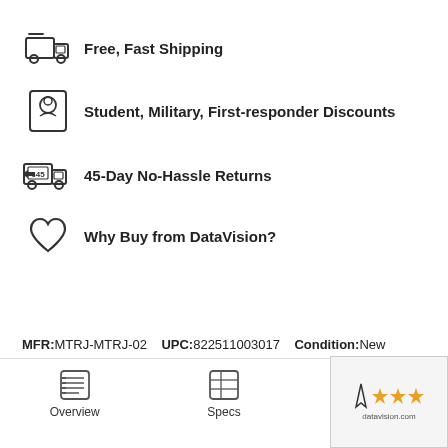Free, Fast Shipping
Student, Military, First-responder Discounts
45-Day No-Hassle Returns
Why Buy from DataVision?
MFR:MTRJ-MTRJ-02   UPC:822511003017   Condition:New
Overview   Specs   Reviews